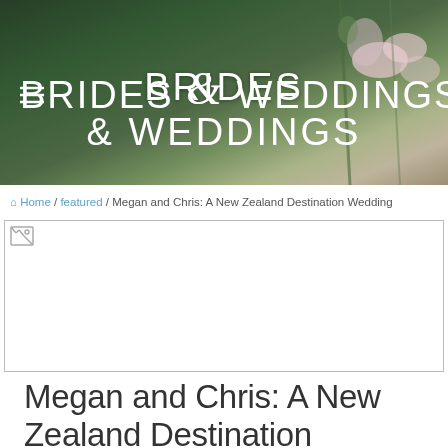[Figure (logo): Brides & Weddings website header banner with floral background (flowers, green foliage) and white text logo reading BRIDES & WEDDINGS with hamburger menu icon]
Home / featured / Megan and Chris: A New Zealand Destination Wedding
[Figure (photo): Broken/unloaded image placeholder with small broken image icon in top left corner]
Megan and Chris: A New Zealand Destination